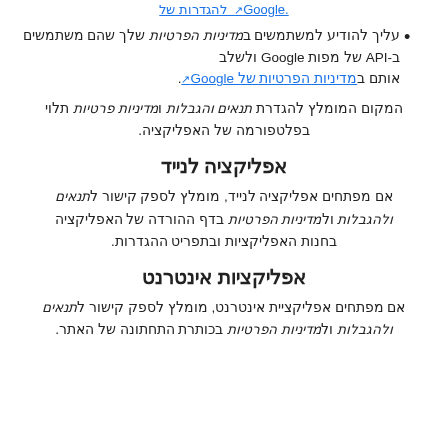להגדרות של Google.
עליך להודיע למשתמשים במדיניות הפרטיות שלך שהם משתמשים ב-API של מפות Google ולשלב אותם במדיניות הפרטיות של Google.
המקום המומלץ להגדרת תנאים והגבלות ומדיניות פרטיות תלוי בפלטפורמה של האפליקציה.
אפליקציה לנייד
אם מפתחים אפליקציה לנייד, מומלץ לספק קישור לתנאים ולהגבלות ולמדיניות הפרטיות בדף ההורדה של האפליקציה בחנות האפליקציות ובתפריט ההגדרות.
אפליקציות אינטרנט
אם מפתחים אפליקציית אינטרנט, מומלץ לספק קישור לתנאים ולהגבלות ולמדיניות הפרטיות בכותרת התחתונה של האתר.